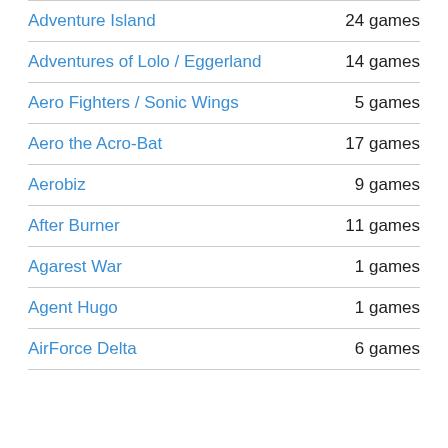Adventure Island — 24 games
Adventures of Lolo / Eggerland — 14 games
Aero Fighters / Sonic Wings — 5 games
Aero the Acro-Bat — 17 games
Aerobiz — 9 games
After Burner — 11 games
Agarest War — 1 games
Agent Hugo — 1 games
AirForce Delta — 6 games